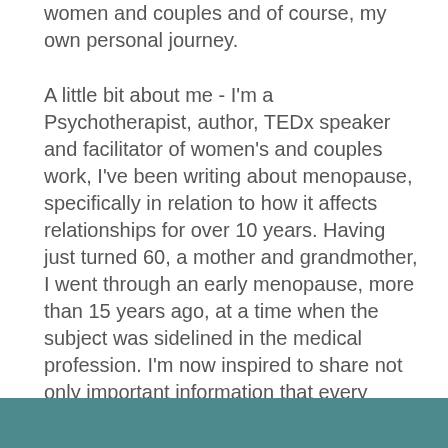clinical research, over 20 years of working with women and couples and of course, my own personal journey.
A little bit about me - I'm a Psychotherapist, author, TEDx speaker and facilitator of women's and couples work, I've been writing about menopause, specifically in relation to how it affects relationships for over 10 years. Having just turned 60, a mother and grandmother, I went through an early menopause, more than 15 years ago, at a time when the subject was sidelined in the medical profession. I'm now inspired to share not only important information that every woman should know, at any age, but the opportunities that this time can offer.